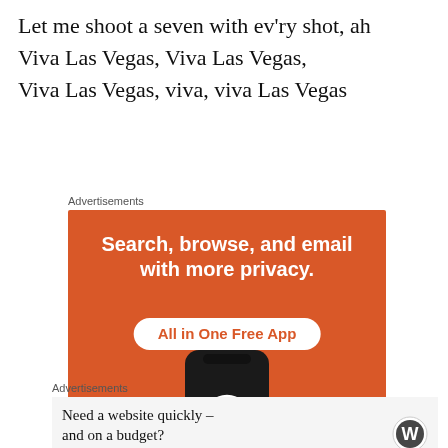Let me shoot a seven with ev'ry shot, ah
Viva Las Vegas, Viva Las Vegas,
Viva Las Vegas, viva, viva Las Vegas
[Figure (screenshot): DuckDuckGo advertisement: orange background with text 'Search, browse, and email with more privacy. All in One Free App' and a smartphone showing DuckDuckGo app icon and name]
[Figure (screenshot): WordPress advertisement on light grey background with text 'Need a website quickly – and on a budget?' and WordPress logo]